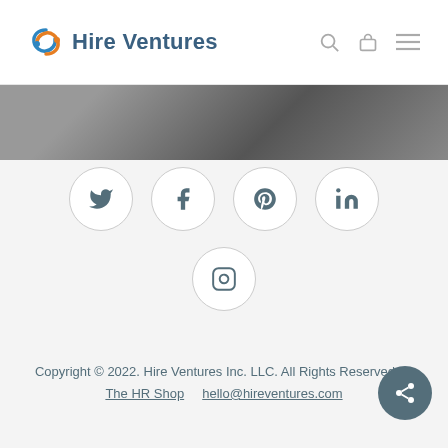[Figure (logo): Hire Ventures logo with circular swirl icon in blue and orange, followed by bold text 'Hire Ventures']
[Figure (photo): Partial photo of a person with dark hair in a grey/dark setting, cropped strip]
[Figure (infographic): Five social media icons in circular bordered buttons: Twitter, Facebook, Pinterest, LinkedIn, Instagram]
Copyright © 2022. Hire Ventures Inc. LLC. All Rights Reserved.    The HR Shop    hello@hireventures.com